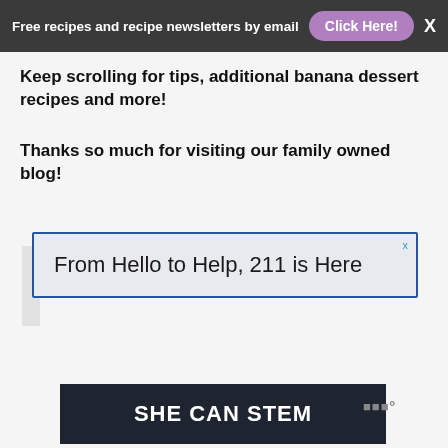Free recipes and recipe newsletters by email  Click Here!
Keep scrolling for tips, additional banana dessert recipes and more!
Thanks so much for visiting our family owned blog!
[Figure (screenshot): Advertisement banner: 'From Hello to Help, 211 is Here' with close button]
[Figure (screenshot): Dark advertisement banner: 'SHE CAN STEM' with logo]